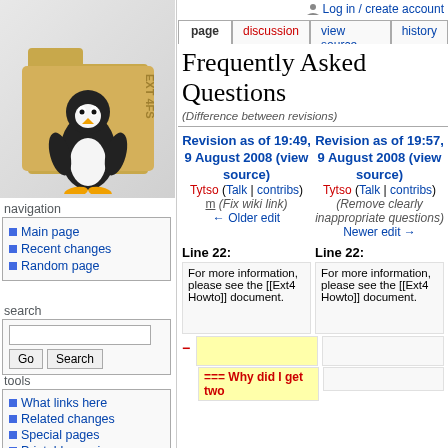Log in / create account
[Figure (illustration): Linux Tux penguin mascot standing in front of a manila folder labeled 'Ext4fs']
navigation
Main page
Recent changes
Random page
search
tools
What links here
Related changes
Special pages
Printable version
Permanent link
Frequently Asked Questions
(Difference between revisions)
| Revision as of 19:49, 9 August 2008 (view source) | Revision as of 19:57, 9 August 2008 (view source) |
| --- | --- |
| Tytso (Talk | contribs) | Tytso (Talk | contribs) |
| m (Fix wiki link) | (Remove clearly inappropriate questions) |
| ← Older edit | Newer edit → |
Line 22:
Line 22:
For more information, please see the [[Ext4 Howto]] document.
For more information, please see the [[Ext4 Howto]] document.
=== Why did I get two